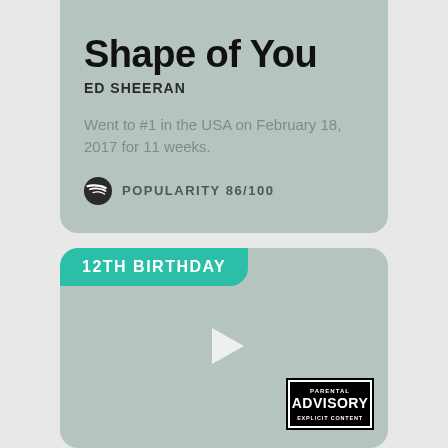2017
Shape of You
ED SHEERAN
Went to #1 in the USA on February 18, 2017 for 11 weeks.
POPULARITY 86/100
12TH BIRTHDAY
[Figure (other): Video player placeholder with play button and Parental Advisory explicit content label]